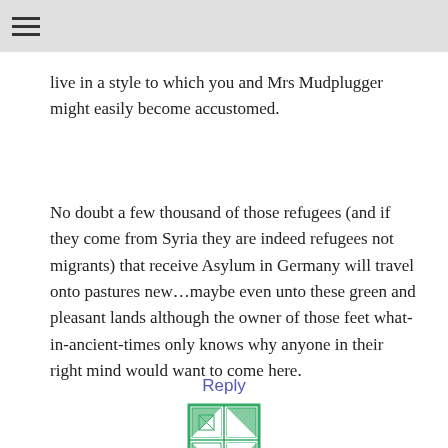≡
live in a style to which you and Mrs Mudplugger might easily become accustomed.
No doubt a few thousand of those refugees (and if they come from Syria they are indeed refugees not migrants) that receive Asylum in Germany will travel onto pastures new…maybe even unto these green and pleasant lands although the owner of those feet what-in-ancient-times only knows why anyone in their right mind would want to come here.
Reply
[Figure (illustration): Small green and white decorative avatar/icon at the bottom center of the page, partially cut off.]